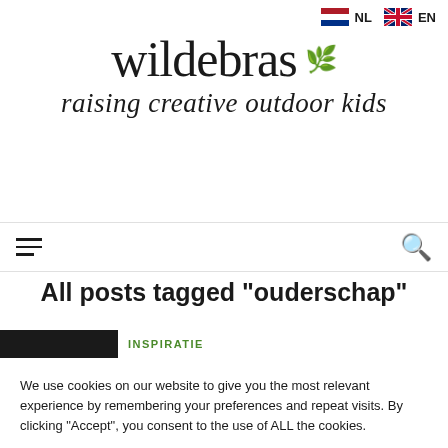wildebras — raising creative outdoor kids
All posts tagged "ouderschap"
We use cookies on our website to give you the most relevant experience by remembering your preferences and repeat visits. By clicking "Accept", you consent to the use of ALL the cookies.
Cookie settings | ACCEPT